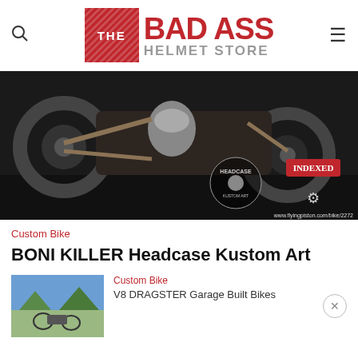[Figure (logo): The Bad Ass Helmet Store logo with red box containing 'THE' and bold red text 'BAD ASS' with gray 'HELMET STORE' below]
[Figure (photo): Custom bobber motorcycle closeup showing engine, frame, wheels, with Headcase Kustom Art and Indexed logos overlaid. URL www.flyingpiston.com/bike/2272]
Custom Bike
BONI KILLER Headcase Kustom Art
[Figure (photo): Thumbnail of outdoor motorcycle photo with green landscape]
Custom Bike
V8 DRAGSTER Garage Built Bikes